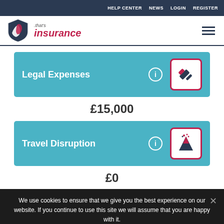HELP CENTER  NEWS  LOGIN  REGISTER
[Figure (logo): That's Insurance logo with shield graphic on the left and hamburger menu icon on the right]
Legal Expenses
£15,000
Travel Disruption
£0
We use cookies to ensure that we give you the best experience on our website. If you continue to use this site we will assume that you are happy with it.
Ok  Read more